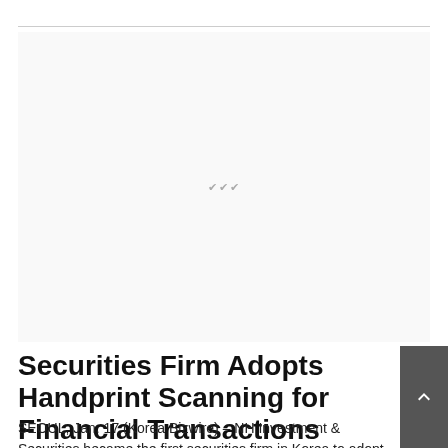[Figure (other): Advertisement placeholder area with small decorative hash marks in center]
Securities Firm Adopts Handprint Scanning for Financial Transactions
SEOUL, Jan. 17 (Korea Bizwire) – NH Investment & Securities became the first securities firm in Korea to adopt a biometric authentication system that scans veins on the palm of a user's hand, to be used for financial